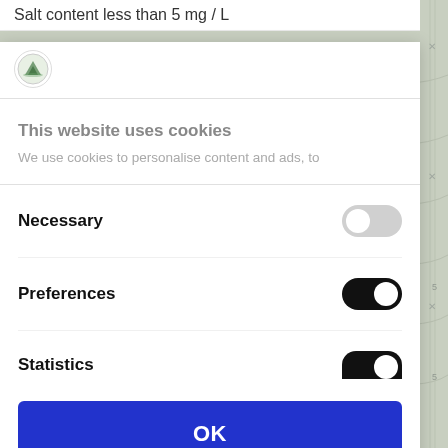Salt content less than 5 mg / L
[Figure (logo): Website favicon/icon: circular icon with green mountain/landscape motif]
This website uses cookies
We use cookies to personalise content and ads, to
Necessary
Preferences
Statistics
OK
Powered by Cookiebot by Usercentrics